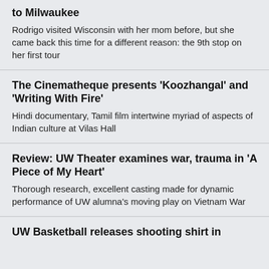to Milwaukee
Rodrigo visited Wisconsin with her mom before, but she came back this time for a different reason: the 9th stop on her first tour
The Cinematheque presents 'Koozhangal' and 'Writing With Fire'
Hindi documentary, Tamil film intertwine myriad of aspects of Indian culture at Vilas Hall
Review: UW Theater examines war, trauma in 'A Piece of My Heart'
Thorough research, excellent casting made for dynamic performance of UW alumna's moving play on Vietnam War
UW Basketball releases shooting shirt in